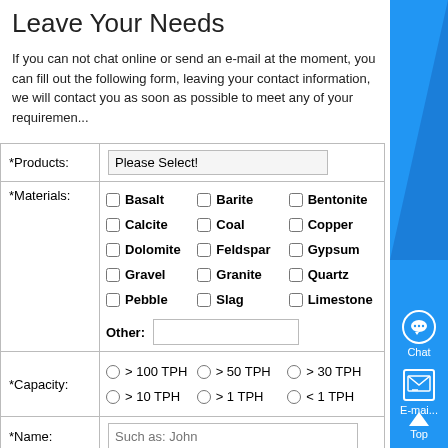Leave Your Needs
If you can not chat online or send an e-mail at the moment, you can fill out the following form, leaving your contact information, we will contact you as soon as possible to meet any of your requirements.
| *Products: | Please Select! |
| *Materials: | Basalt, Barite, Bentonite, Calcite, Coal, Copper, Dolomite, Feldspar, Gypsum, Gravel, Granite, Quartz, Pebble, Slag, Limestone, Other: [input] |
| *Capacity: | > 100 TPH, > 50 TPH, > 30 TPH, > 10 TPH, > 1 TPH, < 1 TPH |
| *Name: | Such as: John |
| *Email: |  |